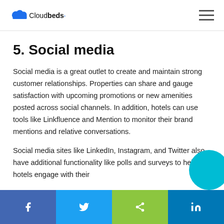Cloudbeds
5. Social media
Social media is a great outlet to create and maintain strong customer relationships. Properties can share and gauge satisfaction with upcoming promotions or new amenities posted across social channels. In addition, hotels can use tools like Linkfluence and Mention to monitor their brand mentions and relative conversations.
Social media sites like LinkedIn, Instagram, and Twitter also have additional functionality like polls and surveys to help hotels engage with their…
Facebook | Twitter | Share | LinkedIn